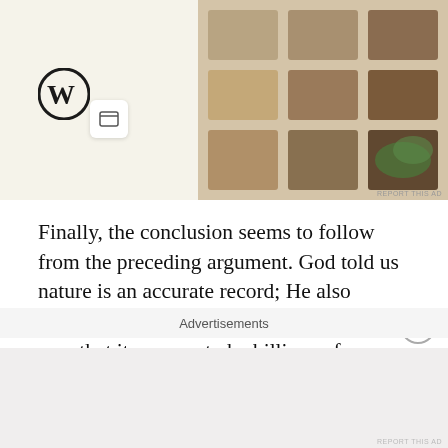[Figure (screenshot): Advertisement banner showing WordPress logo, a small card icon, and food photography on a beige background with 'REPORT THIS AD' label]
Finally, the conclusion seems to follow from the preceding argument. God told us nature is an accurate record; He also created the universe (on YEC) in such a way that it appears to be billions of years old, but is not actually that old. Therefore, He created a universe that would deceive us into thinking, falsely, that the universe is old. But, God does not lie, so this cannot be true. Therefore, the universe is old.
I find this argument very convincing. It underscores my
Advertisements